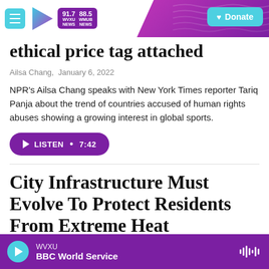WVXU 91.7 NEWS | WMUB 88.5 NEWS | Donate
ethical price tag attached
Ailsa Chang,  January 6, 2022
NPR's Ailsa Chang speaks with New York Times reporter Tariq Panja about the trend of countries accused of human rights abuses showing a growing interest in global sports.
LISTEN • 7:42
City Infrastructure Must Evolve To Protect Residents From Extreme Heat
WVXU | BBC World Service